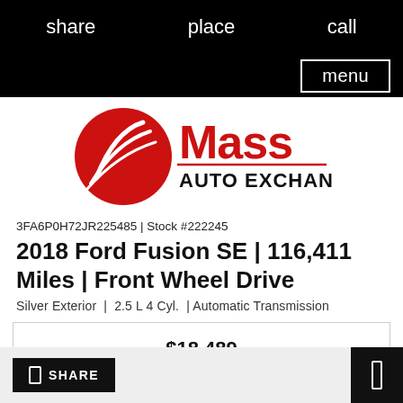share   place   call   menu
[Figure (logo): Mass Auto Exchange logo: red circular emblem with white swoosh lines on left, red bold text 'Mass' on right with 'AUTO EXCHANGE' in black below]
3FA6P0H72JR225485 | Stock #222245
2018 Ford Fusion SE | 116,411 Miles | Front Wheel Drive
Silver Exterior  |  2.5 L 4 Cyl.  | Automatic Transmission
$18,489